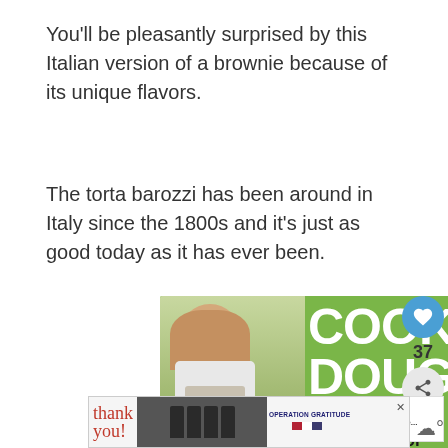You'll be pleasantly surprised by this Italian version of a brownie because of its unique flavors.
The torta barozzi has been around in Italy since the 1800s and it's just as good today as it has ever been.
[Figure (screenshot): Green advertisement banner for Cookie Dough fundraiser featuring a smiling young girl holding a jar of money, with text 'COOKIE DOUGH' and 'Childhood can't stop for COVID-19.' with a close X button]
[Figure (screenshot): Bottom advertisement banner showing firefighters and 'Thank you!' text with Operation Gratitude logo]